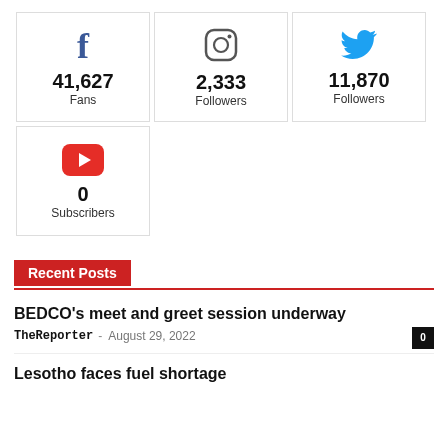[Figure (infographic): Social media stats widget showing Facebook (41,627 Fans), Instagram (2,333 Followers), Twitter (11,870 Followers), YouTube (0 Subscribers)]
Recent Posts
BEDCO’s meet and greet session underway
TheReporter – August 29, 2022
Lesotho faces fuel shortage